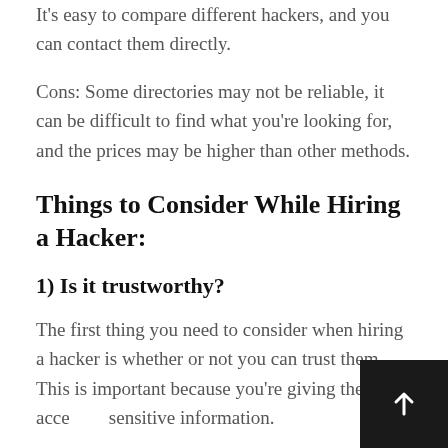It's easy to compare different hackers, and you can contact them directly.
Cons: Some directories may not be reliable, it can be difficult to find what you're looking for, and the prices may be higher than other methods.
Things to Consider While Hiring a Hacker:
1) Is it trustworthy?
The first thing you need to consider when hiring a hacker is whether or not you can trust them. This is important because you're giving them access to sensitive information.